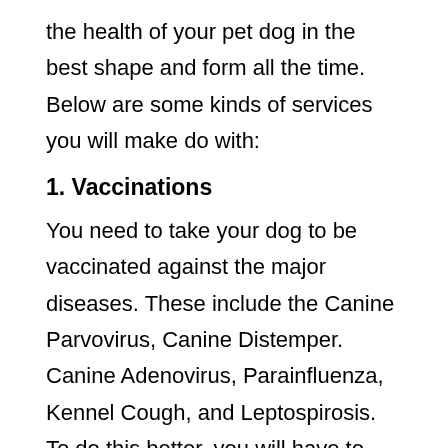the health of your pet dog in the best shape and form all the time. Below are some kinds of services you will make do with:
1. Vaccinations
You need to take your dog to be vaccinated against the major diseases. These include the Canine Parvovirus, Canine Distemper. Canine Adenovirus, Parainfluenza, Kennel Cough, and Leptospirosis. To do this better, you will have to adhere to some strict schedules.
2. Inspections